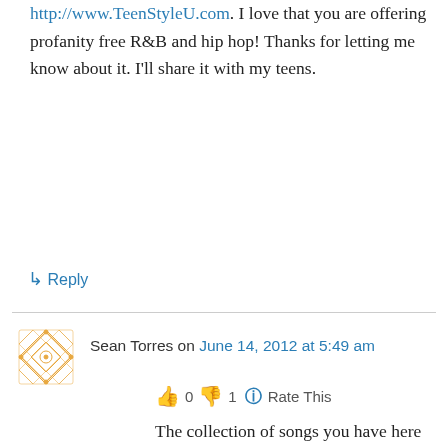http://www.TeenStyleU.com. I love that you are offering profanity free R&B and hip hop! Thanks for letting me know about it. I'll share it with my teens.
↳ Reply
Sean Torres on June 14, 2012 at 5:49 am
👍 0 👎 1 ℹ Rate This
The collection of songs you have here is just
Privacy & Cookies: This site uses cookies. By continuing to use this website, you agree to their use.
To find out more, including how to control cookies, see here: Cookie Policy
Close and accept
hard day's work. I wanna feel elevated and